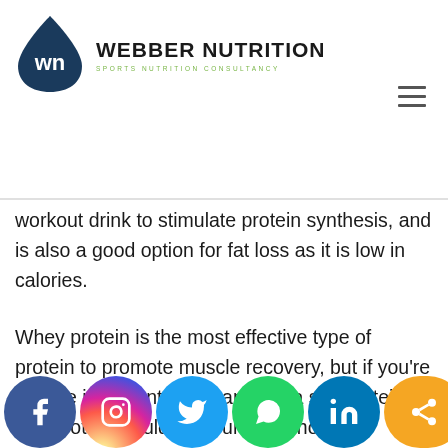[Figure (logo): Webber Nutrition logo — dark blue teardrop/drop shape with 'wn' monogram in white, beside bold text WEBBER NUTRITION with tagline SPORTS NUTRITION CONSULTANCY in green]
workout drink to stimulate protein synthesis, and is also a good option for fat loss as it is low in calories.
Whey protein is the most effective type of protein to promote muscle recovery, but if you're lactose intolerant or vegan then a soy protein or pea protein would be your best choice.
Furthermore, athletes who struggle to get en... [continues]